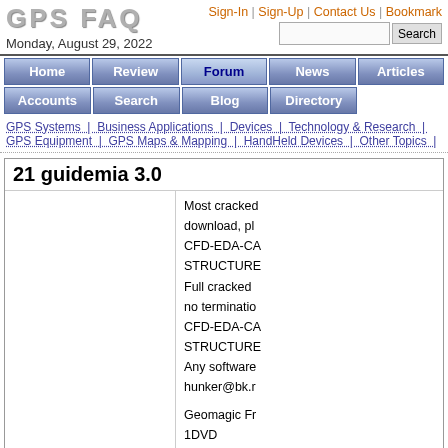GPS FAQ | Monday, August 29, 2022 | Sign-In | Sign-Up | Contact Us | Bookmark | Search
[Figure (screenshot): Navigation menu with buttons: Home, Review, Forum (active/bold), News, Articles, Accounts, Search, Blog, Directory]
GPS Systems | Business Applications | Devices | Technology & Research | GPS Equipment | GPS Maps & Mapping | HandHeld Devices | Other Topics |
21 guidemia 3.0
Most cracked download, please CFD-EDA-CAD-STRUCTURE Full cracked no termination CFD-EDA-CAD-STRUCTURE Any software hunker@bk.r
Geomagic Fr 1DVD Geomagic Fr 1DVD